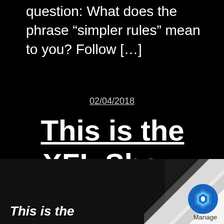question: What does the phrase “simpler rules” mean to you? Follow […]
02/04/2018
This is the XFL Show Episode 1
[Figure (screenshot): Thumbnail image of the XFL Show with bold italic text reading 'This is the' on a dark background, with a page-curl effect in the bottom-right corner revealing a Manage app icon.]